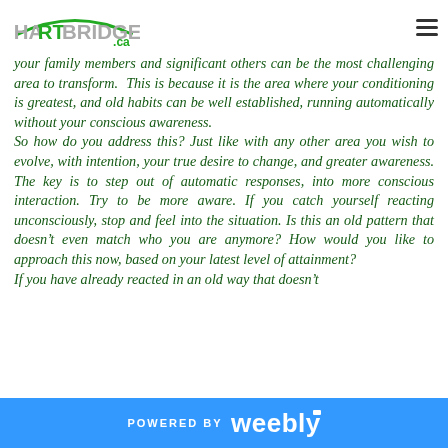HARTBRIDGE.ca
your family members and significant others can be the most challenging area to transform. This is because it is the area where your conditioning is greatest, and old habits can be well established, running automatically without your conscious awareness.
So how do you address this? Just like with any other area you wish to evolve, with intention, your true desire to change, and greater awareness. The key is to step out of automatic responses, into more conscious interaction. Try to be more aware. If you catch yourself reacting unconsciously, stop and feel into the situation. Is this an old pattern that doesn’t even match who you are anymore? How would you like to approach this now, based on your latest level of attainment?
If you have already reacted in an old way that doesn’t
POWERED BY weebly